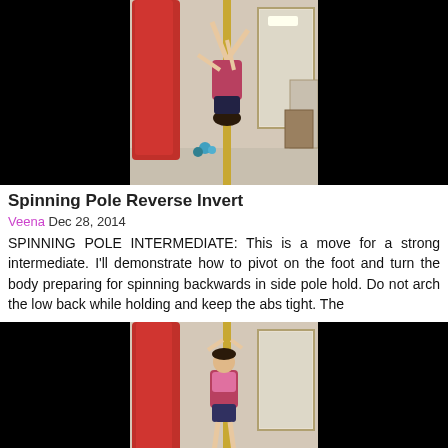[Figure (photo): Video thumbnail showing a person performing a spinning pole reverse invert move on a vertical pole. The center shows the performer against a beige/white wall background with red fabric hanging, while both sides of the frame are black letterbox bars.]
Spinning Pole Reverse Invert
Veena Dec 28, 2014
SPINNING POLE INTERMEDIATE: This is a move for a strong intermediate. I'll demonstrate how to pivot on the foot and turn the body preparing for spinning backwards in side pole hold. Do not arch the low back while holding and keep the abs tight. The
[Figure (photo): Second video thumbnail showing a person on a spinning pole, gripping high up on the pole, with red fabric in the background and a beige wall. Black letterbox bars on both sides.]